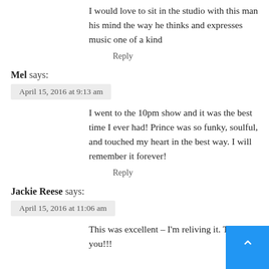I would love to sit in the studio with this man his mind the way he thinks and expresses music one of a kind
Reply
Mel says:
April 15, 2016 at 9:13 am
I went to the 10pm show and it was the best time I ever had! Prince was so funky, soulful, and touched my heart in the best way. I will remember it forever!
Reply
Jackie Reese says:
April 15, 2016 at 11:06 am
This was excellent – I'm reliving it. Tha you!!!